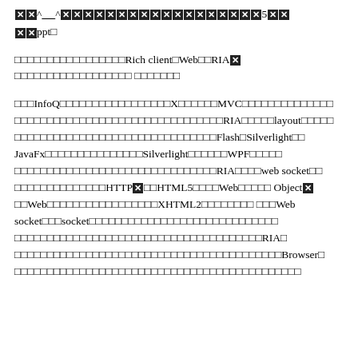■■^____^■■■■■■■■■■■■■■■■■■■5■■
■■ppt□
□□□□□□□□□□□□□□□□□Rich client□Web□□RIA■□□□□□□□□□□□□□□□□□□
□□□InfoQ□□□□□□□□□□□□□□□□□X□□□□□□MVC□□□□□□□□□□□□□□□□□□□□□□□□□□□□□□□□□□□□□□□□□□□□□□□RIA□□□□□layout□□□□□□□□□□□□□□□□□□□□□□□□□□□□□□□□□□□Flash□Silverlight□□JavaFx□□□□□□□□□□□□□□□Silverlight□□□□□□WPF□□□□□□□□□□□□□□□□□□□□□□□□□□□□□□□□RIA□□□□web socket□□□□□□□□□□□□□□HTTP■□□HTML5□□□□Web□□□□□Object■□□Web□□□□□□□□□□□□□□□□□XHTML2□□□□□□□□□□□Web socket□□□socket□□□□□□□□□□□□□□□□□□□□□□□□□□□□□□□□□□□□□□□□□□□□□□□□□□□□□□□□□RIA□□□□□□□□□□□□□□□□□□□□□□□□□□□□□□□□□□□□□□□□Browser□